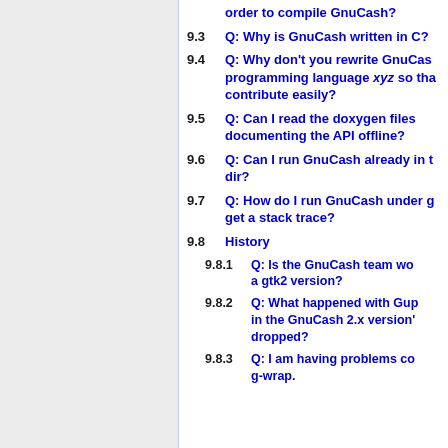order to compile GnuCash?
9.3 Q: Why is GnuCash written in C?
9.4 Q: Why don't you rewrite GnuCash in programming language xyz so that people can contribute easily?
9.5 Q: Can I read the doxygen files documenting the API offline?
9.6 Q: Can I run GnuCash already in the build dir?
9.7 Q: How do I run GnuCash under gdb and get a stack trace?
9.8 History
9.8.1 Q: Is the GnuCash team working on a gtk2 version?
9.8.2 Q: What happened with Gup in the GnuCash 2.x version't dropped?
9.8.3 Q: I am having problems co g-wrap.